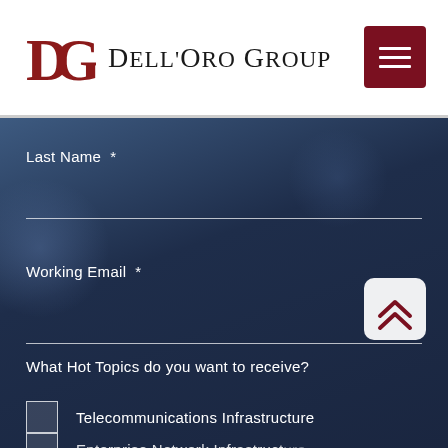[Figure (logo): Dell'Oro Group logo with DG monogram in dark red and company name in serif font]
Last Name *
Working Email *
What Hot Topics do you want to receive?
Telecommunications Infrastructure
Enterprise Network Infrastructure